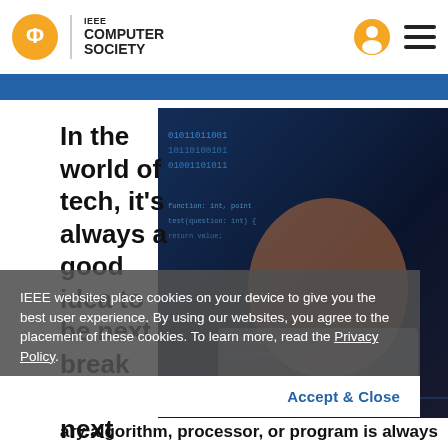IEEE COMPUTER SOCIETY
In the world of tech, it's always a good idea to be next breakthrough. The next revolutionary algorithm, processor, or program is always
[Figure (photo): Person typing on laptop keyboard with digital code overlay showing binary numbers and programming code in blue tones]
IEEE websites place cookies on your device to give you the best user experience. By using our websites, you agree to the placement of these cookies. To learn more, read the Privacy Policy.
Accept & Close